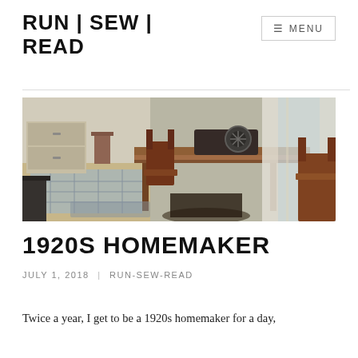RUN | SEW | READ
[Figure (photo): Interior room with a vintage treadle sewing machine on a wooden table, wooden chairs, patterned floor rug, and period furniture in a historic home setting.]
1920S HOMEMAKER
JULY 1, 2018  |  RUN-SEW-READ
Twice a year, I get to be a 1920s homemaker for a day,